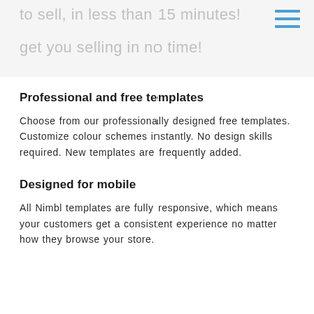to sell, in less than 15 minutes!
get you selling in no time!
Professional and free templates
Choose from our professionally designed free templates. Customize colour schemes instantly. No design skills required. New templates are frequently added.
Designed for mobile
All Nimbl templates are fully responsive, which means your customers get a consistent experience no matter how they browse your store.